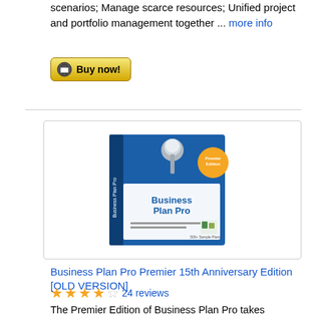scenarios; Manage scarce resources; Unified project and portfolio management together ... more info
[Figure (other): Buy now button with shopping cart icon, gold/yellow gradient background]
[Figure (photo): Business Plan Pro Premier 15th Anniversary Edition software box with a thumbtack image on the cover]
Business Plan Pro Premier 15th Anniversary Edition [OLD VERSION]
24 reviews
The Premier Edition of Business Plan Pro takes business plan software to the next level. You get everything that people love about the standard product: 500+ sample business plans, step-by-step expert guidance, built-in market research data, SBA and lende ... more info